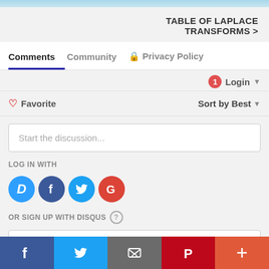TABLE OF LAPLACE TRANSFORMS >
Comments | Community | Privacy Policy
Login
Favorite   Sort by Best
Start the discussion...
LOG IN WITH
[Figure (infographic): Social login icons: Disqus (blue), Facebook (dark blue), Twitter (light blue), Google (red)]
OR SIGN UP WITH DISQUS ?
Name
Facebook | Twitter | Email | Pinterest | More